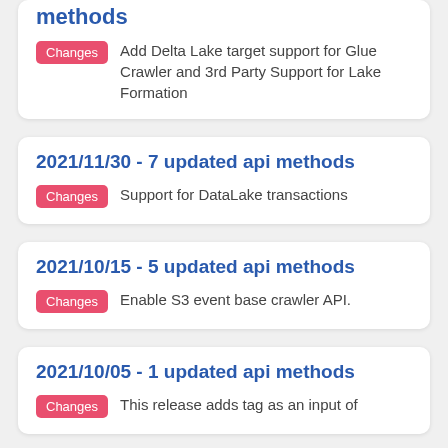methods
Changes   Add Delta Lake target support for Glue Crawler and 3rd Party Support for Lake Formation
2021/11/30 - 7 updated api methods
Changes   Support for DataLake transactions
2021/10/15 - 5 updated api methods
Changes   Enable S3 event base crawler API.
2021/10/05 - 1 updated api methods
Changes   This release adds tag as an input of